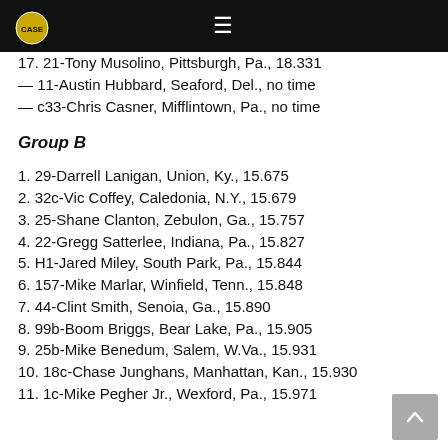≡
17. 21-Tony Musolino, Pittsburgh, Pa., 18.331
— 11-Austin Hubbard, Seaford, Del., no time
— c33-Chris Casner, Mifflintown, Pa., no time
Group B
1. 29-Darrell Lanigan, Union, Ky., 15.675
2. 32c-Vic Coffey, Caledonia, N.Y., 15.679
3. 25-Shane Clanton, Zebulon, Ga., 15.757
4. 22-Gregg Satterlee, Indiana, Pa., 15.827
5. H1-Jared Miley, South Park, Pa., 15.844
6. 157-Mike Marlar, Winfield, Tenn., 15.848
7. 44-Clint Smith, Senoia, Ga., 15.890
8. 99b-Boom Briggs, Bear Lake, Pa., 15.905
9. 25b-Mike Benedum, Salem, W.Va., 15.931
10. 18c-Chase Junghans, Manhattan, Kan., 15.930
11. 1c-Mike Pegher Jr., Wexford, Pa., 15.971